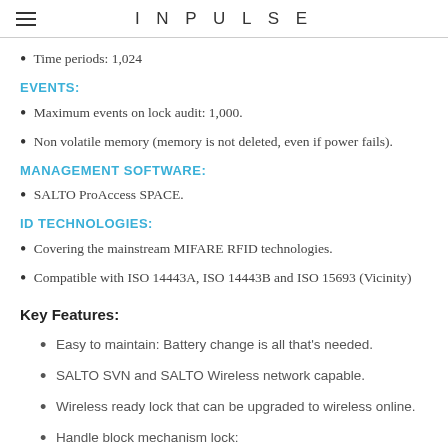INPULSE
Time periods: 1,024
EVENTS:
Maximum events on lock audit: 1,000.
Non volatile memory (memory is not deleted, even if power fails).
MANAGEMENT SOFTWARE:
SALTO ProAccess SPACE.
ID TECHNOLOGIES:
Covering the mainstream MIFARE RFID technologies.
Compatible with ISO 14443A, ISO 14443B and ISO 15693 (Vicinity)
Key Features:
Easy to maintain: Battery change is all that's needed.
SALTO SVN and SALTO Wireless network capable.
Wireless ready lock that can be upgraded to wireless online.
Handle block mechanism lock: